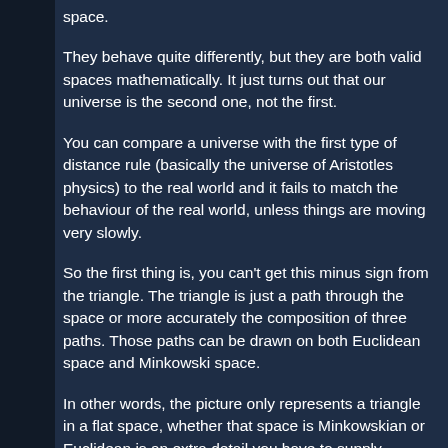space.
They behave quite differently, but they are both valid spaces mathematically. It just turns out that our universe is the second one, not the first.
You can compare a universe with the first type of distance rule (basically the universe of Aristotles physics) to the real world and it fails to match the behaviour of the real world, unless things are moving very slowly.
So the first thing is, you can't get this minus sign from the triangle. The triangle is just a path through the space or more accurately the composition of three paths. Those paths can be drawn on both Euclidean space and Minkowski space.
In other words, the picture only represents a triangle in a flat space, whether that space is Minkowskian or Euclidean is an extra detail you have to supply.
So, to my mind, you could write down